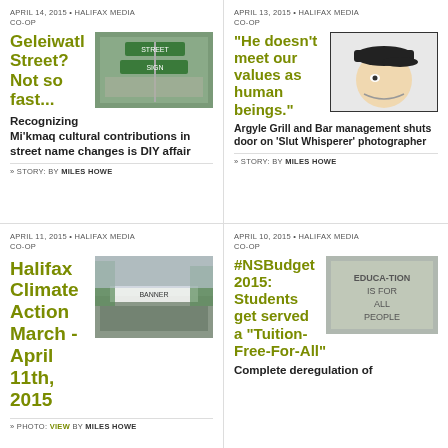APRIL 14, 2015 • HALIFAX MEDIA CO-OP
[Figure (photo): Photo of street sign, Geleiwatl Street]
Geleiwatl Street? Not so fast...
Recognizing Mi'kmaq cultural contributions in street name changes is DIY affair
» STORY: BY MILES HOWE
APRIL 13, 2015 • HALIFAX MEDIA CO-OP
[Figure (illustration): Illustrated portrait of a person wearing a cap]
"He doesn't meet our values as human beings."
Argyle Grill and Bar management shuts door on 'Slut Whisperer' photographer
» STORY: BY MILES HOWE
APRIL 11, 2015 • HALIFAX MEDIA CO-OP
[Figure (photo): Photo of a climate march with protesters holding banner]
Halifax Climate Action March - April 11th, 2015
» PHOTO: VIEW BY MILES HOWE
APRIL 10, 2015 • HALIFAX MEDIA CO-OP
[Figure (photo): Photo of a sign reading Education For All People]
#NSBudget 2015: Students get served a "Tuition-Free-For-All"
Complete deregulation of